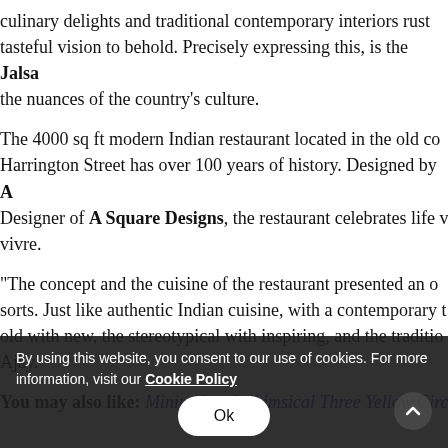culinary delights and traditional contemporary interiors rustle together to form a tasteful vision to behold. Precisely expressing this, is the Jalsa the nuances of the country's culture.
The 4000 sq ft modern Indian restaurant located in the old co Harrington Street has over 100 years of history. Designed by A Designer of A Square Designs, the restaurant celebrates life v vivre.
“The concept and the cuisine of the restaurant presented an o sorts. Just like authentic Indian cuisine, with a contemporary old with new, the stereotypical with inspiring, and the traditio Ajay.
You may also like: Minimal and whimsical Three Yellow Circ
By using this website, you consent to our use of cookies. For more information, visit our Cookie Policy
Ok